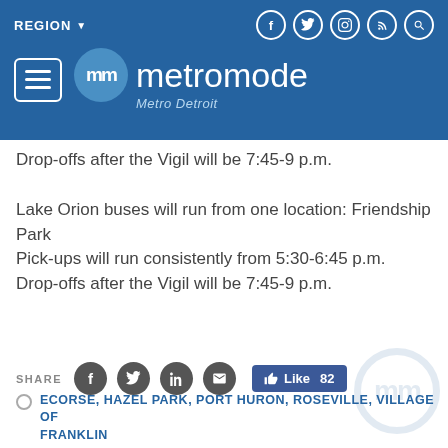REGION ▼ | metromode Metro Detroit
Drop-offs after the Vigil will be 7:45-9 p.m.
Lake Orion buses will run from one location: Friendship Park
Pick-ups will run consistently from 5:30-6:45 p.m.
Drop-offs after the Vigil will be 7:45-9 p.m.
SHARE   Like 82
ECORSE, HAZEL PARK, PORT HURON, ROSEVILLE, VILLAGE OF FRANKLIN